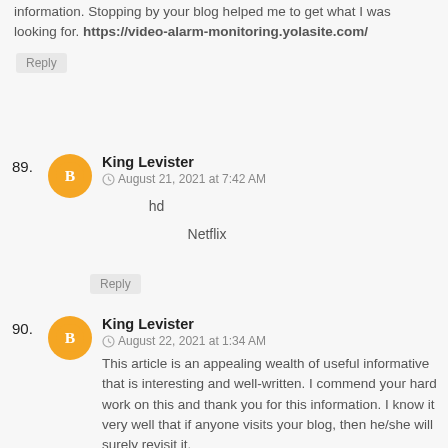information. Stopping by your blog helped me to get what I was looking for. https://video-alarm-monitoring.yolasite.com/
Reply
89. King Levister
August 21, 2021 at 7:42 AM
hd
Netflix
Reply
90. King Levister
August 22, 2021 at 1:34 AM
This article is an appealing wealth of useful informative that is interesting and well-written. I commend your hard work on this and thank you for this information. I know it very well that if anyone visits your blog, then he/she will surely revisit it.